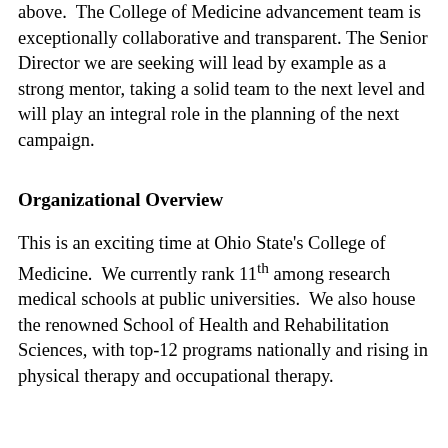above.  The College of Medicine advancement team is exceptionally collaborative and transparent. The Senior Director we are seeking will lead by example as a strong mentor, taking a solid team to the next level and will play an integral role in the planning of the next campaign.
Organizational Overview
This is an exciting time at Ohio State's College of Medicine.  We currently rank 11th among research medical schools at public universities.  We also house the renowned School of Health and Rehabilitation Sciences, with top-12 programs nationally and rising in physical therapy and occupational therapy.